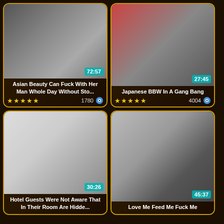[Figure (screenshot): Video thumbnail 1 - duration 72:57]
Asian Beauty Can Fuck With Her Man Whole Day Without Sto...
★★★★★  1780
[Figure (screenshot): Video thumbnail 2 - duration 27:45]
Japanese BBW In A Gang Bang
★★★★★  4004
[Figure (screenshot): Video thumbnail 3 - duration 30:26]
Hotel Guests Were Not Aware That In Their Room Are Hidde...
[Figure (screenshot): Video thumbnail 4 - duration 45:37]
Love Me Feed Me Fuck Me